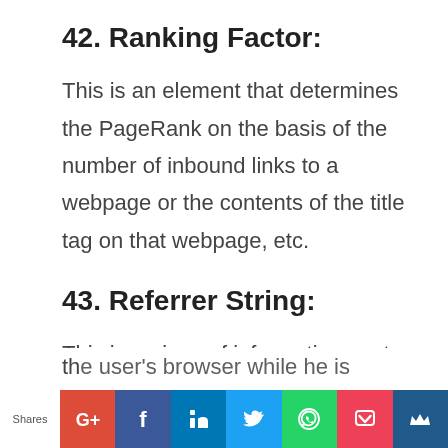42. Ranking Factor:
This is an element that determines the PageRank on the basis of the number of inbound links to a webpage or the contents of the title tag on that webpage, etc.
43. Referrer String:
This is a piece of information sent from the user's browser while he is visiting a
Shares | G+ | f | in | Twitter | WhatsApp | Pocket | Crown